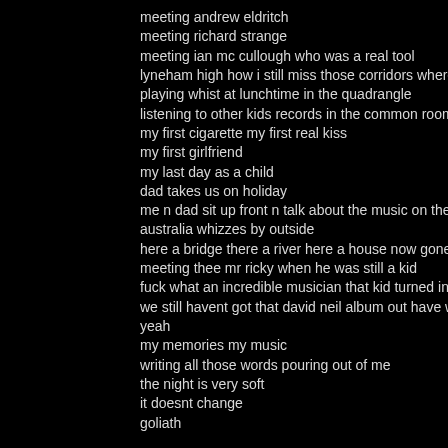meeting andrew eldritch
meeting richard strange
meeting ian mc cullough who was a real tool
lyneham high how i still miss those corridors where i w
playing whist at lunchtime in the quadrangle
listening to other kids records in the common room
my first cigarette my first real kiss
my first girlfriend
my last day as a child
dad takes us on holiday
me n dad sit up front n talk about the music on the radi
australia whizzes by outside
here a bridge there a river here a house now gone fore
meeting thee mr ricky when he was still a kid
fuck what an incredible musician that kid turned into
we still havent got that david neil album out have we?
yeah
my memories my music
writing all those words pouring out of me
the night is very soft
it doesnt change
goliath